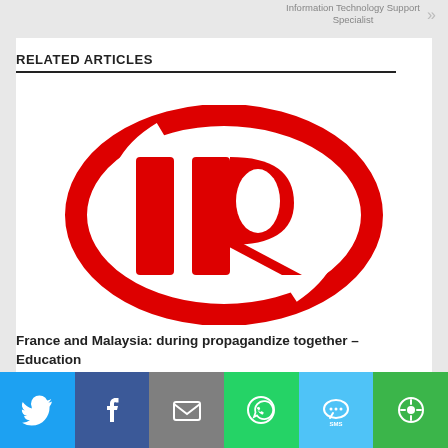Information Technology Support Specialist
RELATED ARTICLES
[Figure (logo): Ingersoll Rand (IR) logo — red ellipse with bold red letters IR inside]
France and Malaysia: during propagandize together – Education
March 31, 2019
[Figure (infographic): Social sharing bar with Twitter, Facebook, Email, WhatsApp, SMS, and More buttons]